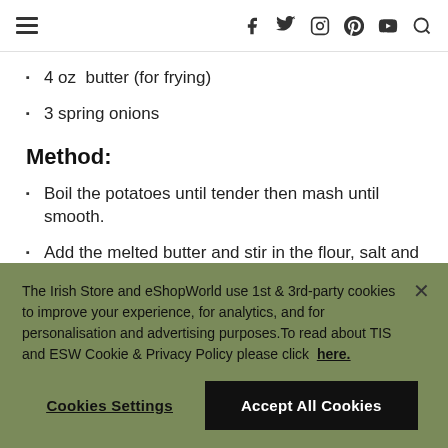Navigation bar with hamburger menu and social icons (f, Twitter, Instagram, Pinterest, YouTube, Search)
4 oz  butter (for frying)
3 spring onions
Method:
Boil the potatoes until tender then mash until smooth.
Add the melted butter and stir in the flour, salt and pepper and chopped up spring onions.
The Irish Store and eShopWorld use 1st & 3rd-party cookies to improve your experience, for analytics, and for personalisation and advertising purposes.To read about TIS and ESW Cookie & Privacy Policy please click  here.
Cookies Settings  Accept All Cookies